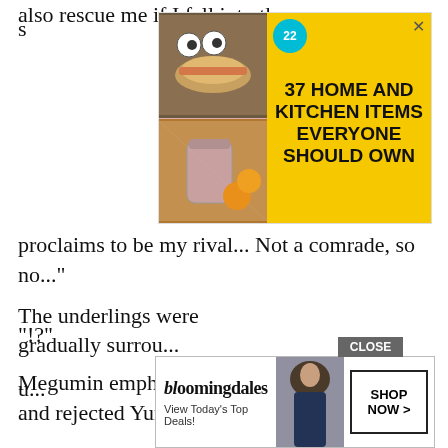also rescue me if I fall into the same s
[Figure (other): Advertisement banner: yellow background with food/kitchen item images on left, text '37 HOME AND KITCHEN ITEMS EVERYONE SHOULD OWN' on right with teal badge '22' and X close button]
proclaims to be my rival... Not a comrade, so no..."
"!?"
Megumin emphasized the term bosom friend and rejected Yunyun mercilessly.
"Really, now is not the time for a casual chat! Give us a plan!"
The underlings were gradually surrou...
u...
[Figure (other): Bloomingdale's advertisement: logo, 'View Today's Top Deals!', model with hat, 'SHOP NOW >' button. CLOSE button overlay.]